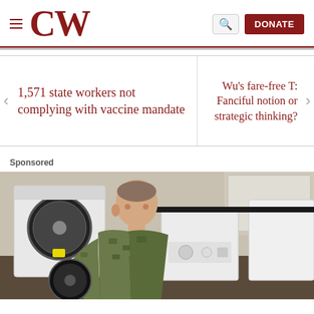CW — with hamburger menu, search, and DONATE button
1,571 state workers not complying with vaccine mandate
Wu's fare-free T: Fanciful notion or strategic thinking?
Sponsored
[Figure (photo): A soldier in camouflage uniform kneeling in front of washing machines in a laundry room, inspecting an appliance]